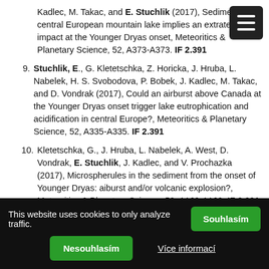Kadlec, M. Takac, and E. Stuchlik (2017), Sediment of a central European mountain lake implies an extraterrestrial impact at the Younger Dryas onset, Meteoritics & Planetary Science, 52, A373-A373. IF 2.391
9. Stuchlik, E., G. Kletetschka, Z. Horicka, J. Hruba, L. Nabelek, H. S. Svobodova, P. Bobek, J. Kadlec, M. Takac, and D. Vondrak (2017), Could an airburst above Canada at the Younger Dryas onset trigger lake eutrophication and acidification in central Europe?, Meteoritics & Planetary Science, 52, A335-A335. IF 2.391
10. Kletetschka, G., J. Hruba, L. Nabelek, A. West, D. Vondrak, E. Stuchlik, J. Kadlec, and V. Prochazka (2017), Microspherules in the sediment from the onset of Younger Dryas: aiburst and/or volcanic explosion?, Meteoritics & Planetary Science, 52, A169-A169. IF 2.391
This website uses cookies to only analyze traffic.
Souhlasím
Nesouhlasím
Více informací